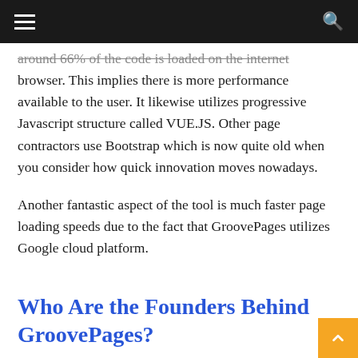☰  [navigation bar]  🔍
around 66% of the code is loaded on the internet browser. This implies there is more performance available to the user. It likewise utilizes progressive Javascript structure called VUE.JS. Other page contractors use Bootstrap which is now quite old when you consider how quick innovation moves nowadays.
Another fantastic aspect of the tool is much faster page loading speeds due to the fact that GroovePages utilizes Google cloud platform.
Who Are the Founders Behind GroovePages?
The creators of Groove Pages & Groo Mike Filsai...